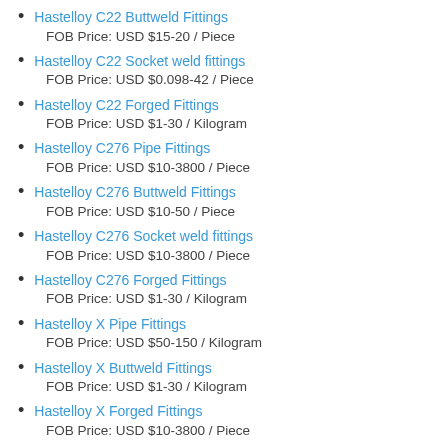Hastelloy C22 Buttweld Fittings
FOB Price: USD $15-20 / Piece
Hastelloy C22 Socket weld fittings
FOB Price: USD $0.098-42 / Piece
Hastelloy C22 Forged Fittings
FOB Price: USD $1-30 / Kilogram
Hastelloy C276 Pipe Fittings
FOB Price: USD $10-3800 / Piece
Hastelloy C276 Buttweld Fittings
FOB Price: USD $10-50 / Piece
Hastelloy C276 Socket weld fittings
FOB Price: USD $10-3800 / Piece
Hastelloy C276 Forged Fittings
FOB Price: USD $1-30 / Kilogram
Hastelloy X Pipe Fittings
FOB Price: USD $50-150 / Kilogram
Hastelloy X Buttweld Fittings
FOB Price: USD $1-30 / Kilogram
Hastelloy X Forged Fittings
FOB Price: USD $10-3800 / Piece
Hastelloy C22 Buttweld Fittings Ready Stock At Ashtapad Overseas